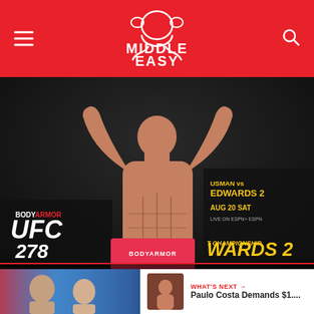MIDDLE EASY
[Figure (photo): Paulo Costa at UFC 278 weigh-in, arms raised above head, shirtless, in front of UFC 278 branding backdrop showing BODYARMOR, UFC 278, Usman vs Edwards 2, Aug 20 Sat]
Paulo Costa Slams USADA for Drawing Blood During UFC 278 Weight Cut; ‘F*ck Those Guys!
WHAT'S NEXT → Paulo Costa Demands $1....